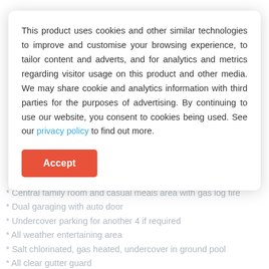just imagine stepping straight out from your family room
This product uses cookies and other similar technologies to improve and customise your browsing experience, to tailor content and adverts, and for analytics and metrics regarding visitor usage on this product and other media. We may share cookie and analytics information with third parties for the purposes of advertising. By continuing to use our website, you consent to cookies being used. See our privacy policy to find out more.
Accept
* Central family room and casual meals area with gas log fire
* Dual garaging with auto door
* Undercover parking for another 4 if required
* All weather entertaining area
* Salt chlorinated, gas heated, undercover in ground pool
* All clear gutter guard
* Upgraded alarm system
* Wiring for phone, Ethernet & TV to the back 3 bedrooms
* Quiet cul de sac location
* Situated right next to a wonderful grassed reserve